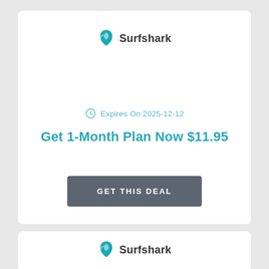[Figure (logo): Surfshark logo with teal shark fin icon and brand name]
Expires On 2025-12-12
Get 1-Month Plan Now $11.95
GET THIS DEAL
[Figure (logo): Surfshark logo with teal shark fin icon and brand name (bottom card)]